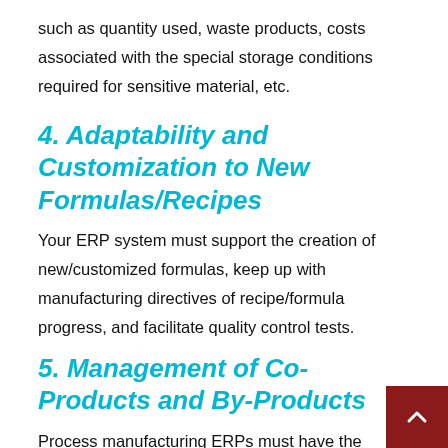such as quantity used, waste products, costs associated with the special storage conditions required for sensitive material, etc.
4. Adaptability and Customization to New Formulas/Recipes
Your ERP system must support the creation of new/customized formulas, keep up with manufacturing directives of recipe/formula progress, and facilitate quality control tests.
5. Management of Co-Products and By-Products
Process manufacturing ERPs must have the capabilities of handling co-products and by-products. Co-products are